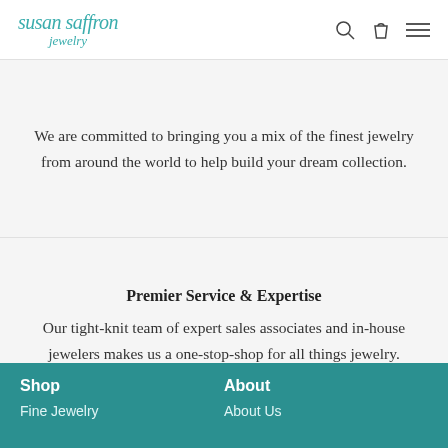susan saffron jewelry
We are committed to bringing you a mix of the finest jewelry from around the world to help build your dream collection.
Premier Service & Expertise
Our tight-knit team of expert sales associates and in-house jewelers makes us a one-stop-shop for all things jewelry.
Shop | About | Fine Jewelry | About Us